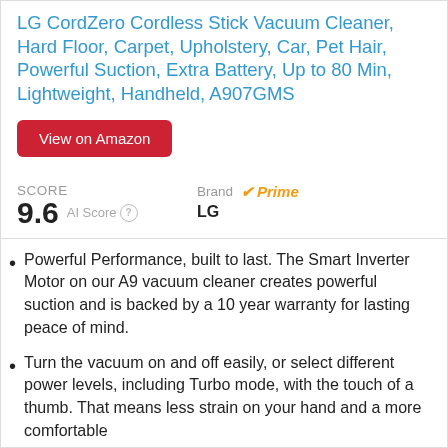LG CordZero Cordless Stick Vacuum Cleaner, Hard Floor, Carpet, Upholstery, Car, Pet Hair, Powerful Suction, Extra Battery, Up to 80 Min, Lightweight, Handheld, A907GMS
View on Amazon
SCORE
9.6 AI Score
Brand Prime LG
Powerful Performance, built to last. The Smart Inverter Motor on our A9 vacuum cleaner creates powerful suction and is backed by a 10 year warranty for lasting peace of mind.
Turn the vacuum on and off easily, or select different power levels, including Turbo mode, with the touch of a thumb. That means less strain on your hand and a more comfortable